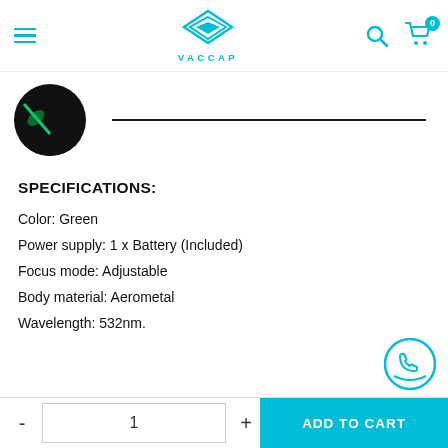[Figure (logo): VACCAP logo with cyan diamond geometric icon and text VACCAP below]
[Figure (photo): Product thumbnail showing a black circular object with green laser light, and a horizontal slider line to the right]
SPECIFICATIONS:
Color:  Green
Power supply:  1 x Battery (Included)
Focus mode:  Adjustable
Body material:  Aerometal
Wavelength:  532nm.